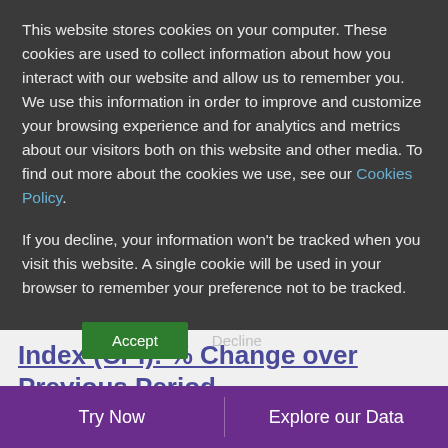This website stores cookies on your computer. These cookies are used to collect information about how you interact with our website and allow us to remember you. We use this information in order to improve and customize your browsing experience and for analytics and metrics about our visitors both on this website and other media. To find out more about the cookies we use, see our Cookies Policy.
If you decline, your information won't be tracked when you visit this website. A single cookie will be used in your browser to remember your preference not to be tracked.
Accept  Decline
Index (CPI): % Change over Previous Period
Try Now    Explore our Data